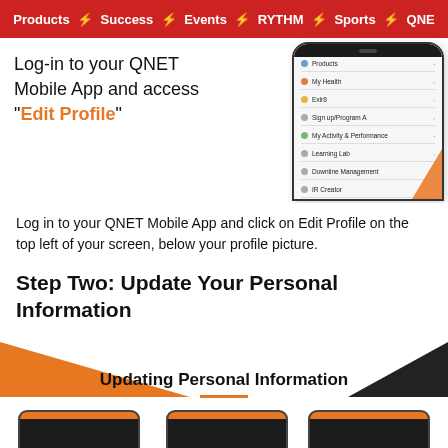Products ⚡ Success ⚡ Events ⚡ RYTHM ⚡ Sports ⚡ QNE
[Figure (screenshot): QNET Mobile App screenshot showing Edit Profile menu]
Log-in to your QNET Mobile App and access "Edit Profile"
Log in to your QNET Mobile App and click on Edit Profile on the top left of your screen, below your profile picture.
Step Two: Update Your Personal Information
[Figure (screenshot): Updating Personal Information section header with orange and dark triangles and three phone thumbnails at bottom]
Updating Personal Information